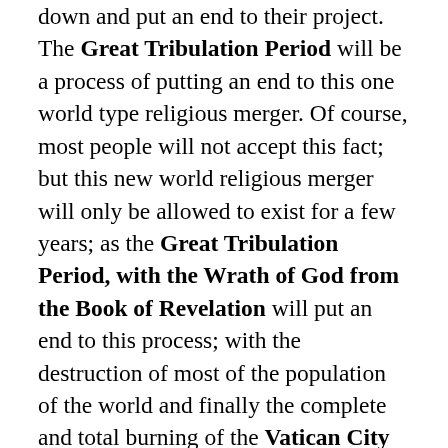down and put an end to their project. The Great Tribulation Period will be a process of putting an end to this one world type religious merger. Of course, most people will not accept this fact; but this new world religious merger will only be allowed to exist for a few years; as the Great Tribulation Period, with the Wrath of God from the Book of Revelation will put an end to this process; with the destruction of most of the population of the world and finally the complete and total burning of the Vatican City in Rome, Italy by the Volcanic Fire from the Volcanic Complex above the Subduction Zone, then the entire land will subside into